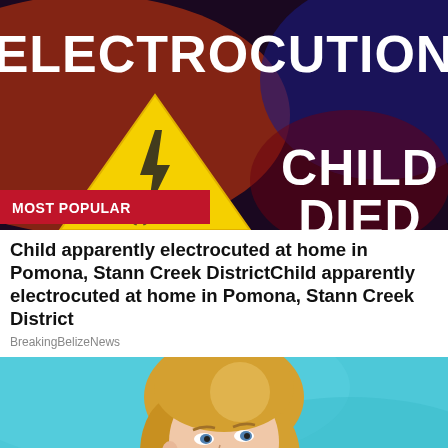[Figure (screenshot): News graphic with dark red/blue background showing the text ELECTROCUTION in large white bold letters at top, a yellow warning triangle with lightning bolt and person silhouette in the center-left, and CHILD DIED in large white bold letters on the right. A red banner at bottom-left reads MOST POPULAR.]
Child apparently electrocuted at home in Pomona, Stann Creek DistrictChild apparently electrocuted at home in Pomona, Stann Creek District
BreakingBelizeNews
[Figure (photo): Photo of a blonde woman against a teal/blue background, cropped at shoulders, looking upward to the right.]